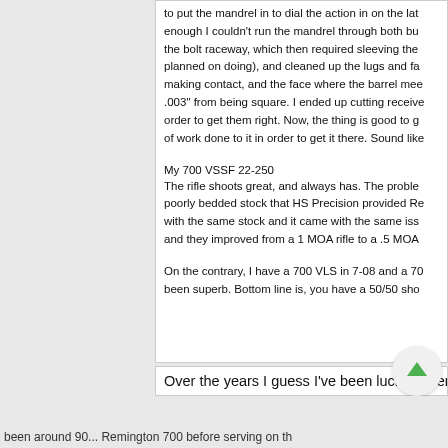to put the mandrel in to dial the action in on the lathe enough I couldn't run the mandrel through both bus the bolt raceway, which then required sleeving the planned on doing), and cleaned up the lugs and fa making contact, and the face where the barrel mee .003" from being square. I ended up cutting receive order to get them right. Now, the thing is good to g of work done to it in order to get it there. Sound like
My 700 VSSF 22-250
The rifle shoots great, and always has. The proble poorly bedded stock that HS Precision provided Re with the same stock and it came with the same iss and they improved from a 1 MOA rifle to a .5 MOA
On the contrary, I have a 700 VLS in 7-08 and a 70 been superb. Bottom line is, you have a 50/50 sho
Over the years I guess I've been lucky never had an is
been around 90... Remington 700 before serving on th